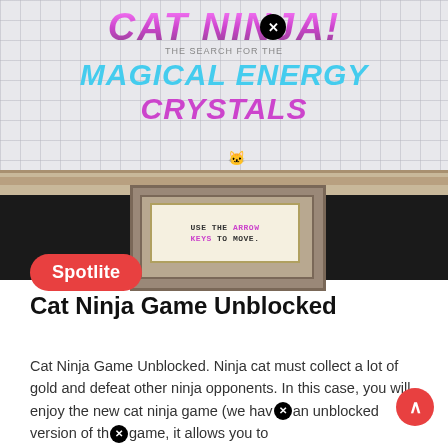[Figure (screenshot): Cat Ninja game screenshot showing the title 'CAT NINJA: The Search for the Magical Energy Crystals' on a grid background with a cat sprite on a platform, and a dialog box reading 'USE THE ARROW KEYS TO MOVE.' A red Spotlite badge is overlaid in the lower-left corner.]
Cat Ninja Game Unblocked
Cat Ninja Game Unblocked. Ninja cat must collect a lot of gold and defeat other ninja opponents. In this case, you will enjoy the new cat ninja game (we have an unblocked version of the game, it allows you to